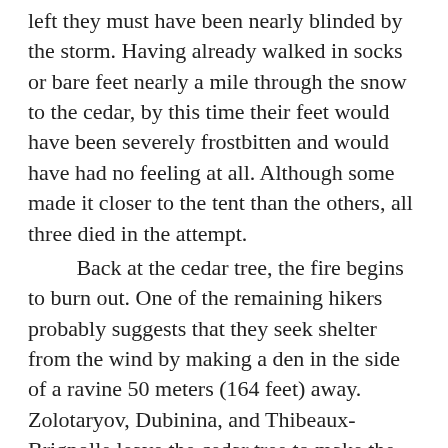left they must have been nearly blinded by the storm. Having already walked in socks or bare feet nearly a mile through the snow to the cedar, by this time their feet would have been severely frostbitten and would have had no feeling at all. Although some made it closer to the tent than the others, all three died in the attempt. Back at the cedar tree, the fire begins to burn out. One of the remaining hikers probably suggests that they seek shelter from the wind by making a den in the side of a ravine 50 meters (164 feet) away. Zolotaryov, Dubinina, and Thibeaux-Brignolle leave the cedar tree to make the den while Aleksander Kolevatov stays behind to watch over the fire with Yuri Doroshenko and Yuri Krivonischenko who are poorly dressed, slowly freezing to death, and no longer strong enough to travel. Kolevatov is also waiting for the team who went back to the tent to return with supplies. Knowing that falling asleep means certain death, Doroshenko and Krivonischenko desperately try to stay